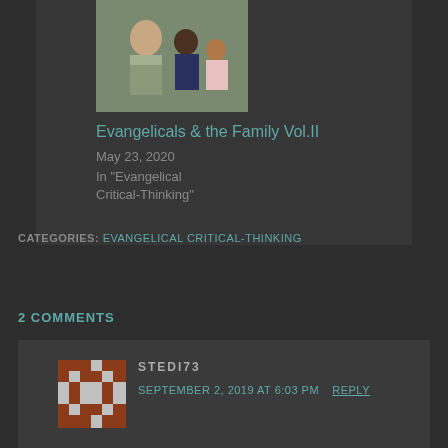[Figure (photo): Photo of a woman with two children smiling]
Evangelicals & the Family Vol.II
May 23, 2020
In "Evangelical Critical-Thinking"
CATEGORIES: EVANGELICAL CRITICAL-THINKING
2 COMMENTS
[Figure (illustration): Pixel avatar icon for user STEDI73]
STEDI73
SEPTEMBER 2, 2019 AT 6:03 PM  REPLY